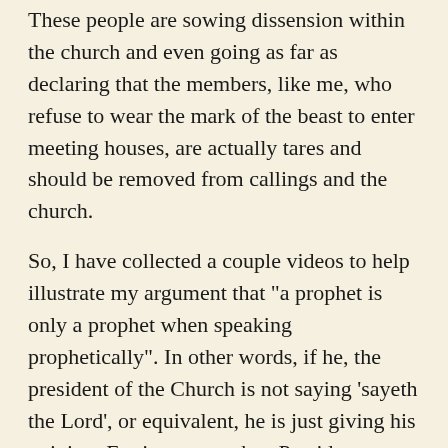These people are sowing dissension within the church and even going as far as declaring that the members, like me, who refuse to wear the mark of the beast to enter meeting houses, are actually tares and should be removed from callings and the church.
So, I have collected a couple videos to help illustrate my argument that "a prophet is only a prophet when speaking prophetically". In other words, if he, the president of the Church is not saying 'sayeth the Lord', or equivalent, he is just giving his opinion. For instance, when President Russel M. Nelson announced changes to the priesthood structure, shortly after being named president, he in fact claimed the change were divinely revealed. He was acting as a prophet.
This is a video released by the Church of Jesus Christ itself that teaches us exactly what a prophet is: